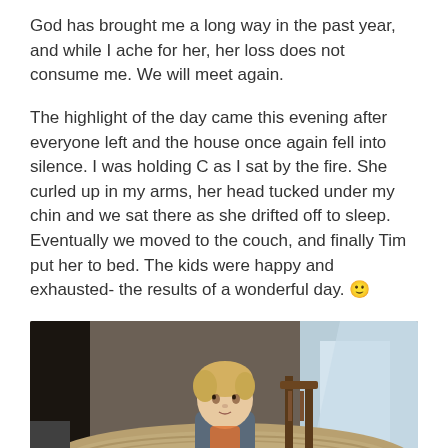God has brought me a long way in the past year, and while I ache for her, her loss does not consume me. We will meet again.
The highlight of the day came this evening after everyone left and the house once again fell into silence. I was holding C as I sat by the fire. She curled up in my arms, her head tucked under my chin and we sat there as she drifted off to sleep. Eventually we moved to the couch, and finally Tim put her to bed. The kids were happy and exhausted- the results of a wonderful day. 🙂
[Figure (photo): A young toddler with blond hair sitting on a patterned rug on the floor, looking toward the camera. A wooden chair is visible behind the child. The room has hardwood floors visible in the background with light streaming in.]